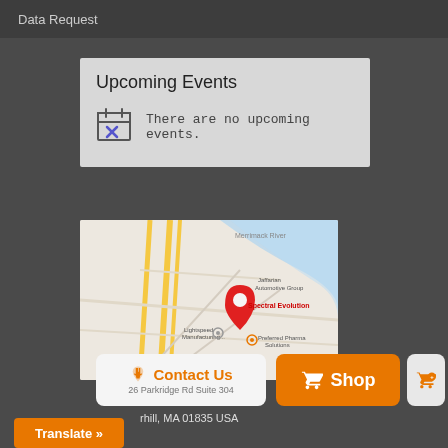Data Request
Upcoming Events
There are no upcoming events.
[Figure (map): Google Maps screenshot showing location of Spectral Evolution at 26 Parkridge Rd Suite 304, Haverhill, MA 01835 USA. Red location pin marker visible. Nearby landmarks include Lightspeed Manufacturing, Jaffarian Automotive Group, and Preferred Pharma Solutions.]
Contact Us
26 Parkridge Rd Suite 304
Shop
rhill, MA 01835 USA
Translate »